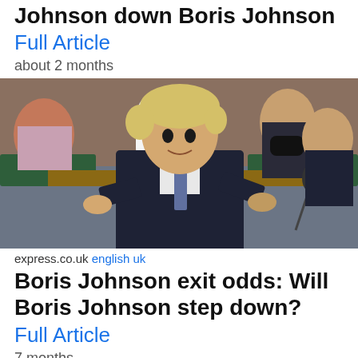Johnson down Boris Johnson
Full Article
about 2 months
[Figure (photo): Boris Johnson speaking in the House of Commons chamber, wearing a dark suit and patterned tie, with MPs seated behind him, one wearing a black face mask.]
express.co.uk english uk
Boris Johnson exit odds: Will Boris Johnson step down?
Full Article
7 months